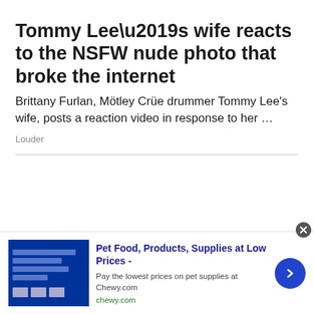Tommy Lee’s wife reacts to the NSFW nude photo that broke the internet
Brittany Furlan, Mötley Crüe drummer Tommy Lee’s wife, posts a reaction video in response to her …
Louder
[Figure (screenshot): Advertisement banner for Chewy.com showing a blue product image on the left, bold text 'Pet Food, Products, Supplies at Low Prices -', subtitle 'Pay the lowest prices on pet supplies at Chewy.com', green URL 'chewy.com', and a blue circular arrow button on the right. A close (X) button appears in the top-right corner of the ad.]